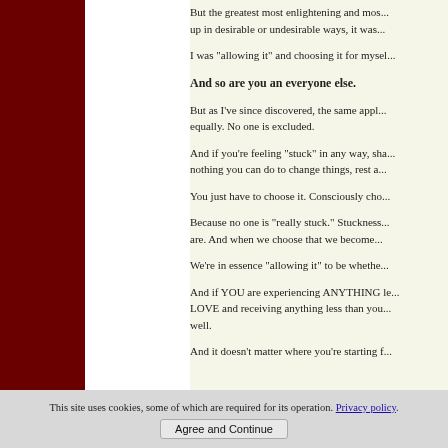But the greatest most enlightening and most eye opening thing I discovered in all my experience with how life shows up in desirable or undesirable ways, it was...
I was "allowing it" and choosing it for myself.
And so are you an everyone else.
But as I've since discovered, the same applies to you and everyone equally. No one is excluded.
And if you're feeling "stuck" in any way, shape or form, and feel as if there is nothing you can do to change things, rest assured...
You just have to choose it. Consciously cho...
Because no one is "really stuck." Stuckness is something we choose. We are. And when we choose that we become...
We're in essence "allowing it" to be whethe...
And if YOU are experiencing ANYTHING less than you deserve in LOVE and receiving anything less than you deserve, choose to change it as well.
And it doesn't matter where you're starting f...
This site uses cookies, some of which are required for its operation. Privacy policy
Agree and Continue